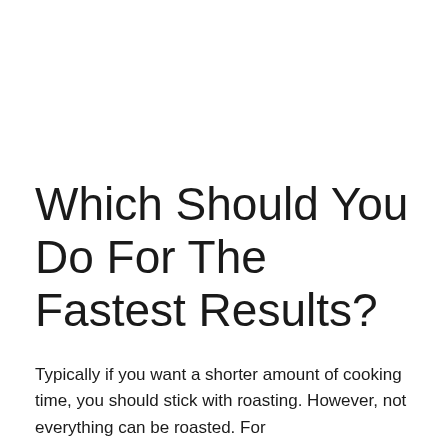Which Should You Do For The Fastest Results?
Typically if you want a shorter amount of cooking time, you should stick with roasting. However, not everything can be roasted. For